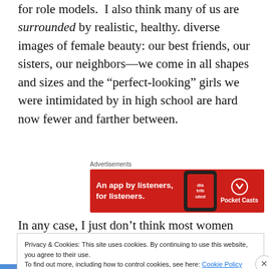for role models.  I also think many of us are surrounded by realistic, healthy. diverse images of female beauty: our best friends, our sisters, our neighbors—we come in all shapes and sizes and the “perfect-looking” girls we were intimidated by in high school are hard now fewer and farther between.
[Figure (screenshot): Advertisement banner for Pocket Casts app: red background with white bold text 'An app by listeners, for listeners.' alongside a smartphone graphic and the Pocket Casts logo.]
In any case, I just don’t think most women over forty are
Privacy & Cookies: This site uses cookies. By continuing to use this website, you agree to their use.
To find out more, including how to control cookies, see here: Cookie Policy
Close and accept